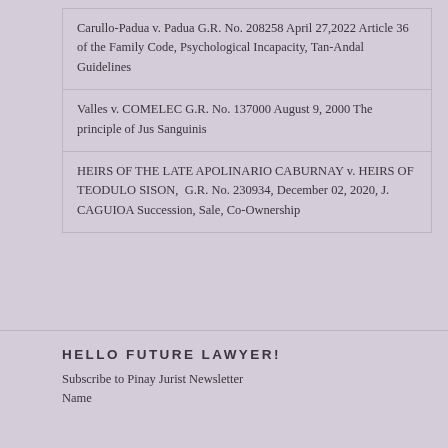Carullo-Padua v. Padua G.R. No. 208258 April 27,2022 Article 36 of the Family Code, Psychological Incapacity, Tan-Andal Guidelines
Valles v. COMELEC G.R. No. 137000 August 9, 2000 The principle of Jus Sanguinis
HEIRS OF THE LATE APOLINARIO CABURNAY v. HEIRS OF TEODULO SISON,  G.R. No. 230934, December 02, 2020, J. CAGUIOA Succession, Sale, Co-Ownership
HELLO FUTURE LAWYER!
Subscribe to Pinay Jurist Newsletter
Name